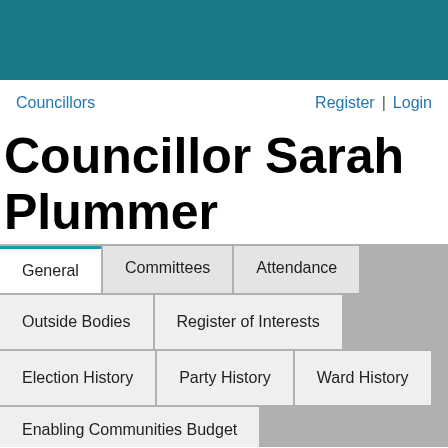Councillors   Register | Login
Councillor Sarah Plummer
General | Committees | Attendance | Outside Bodies | Register of Interests | Election History | Party History | Ward History | Enabling Communities Budget